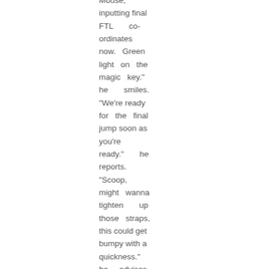Mouse, inputting final FTL co-ordinates now. Green light on the magic key." he smiles. "We're ready for the final jump soon as you're ready." he reports. "Scoop, might wanna tighten up those straps, this could get bumpy with a quickness." he advises the reporter.

Jump jump jump. Such